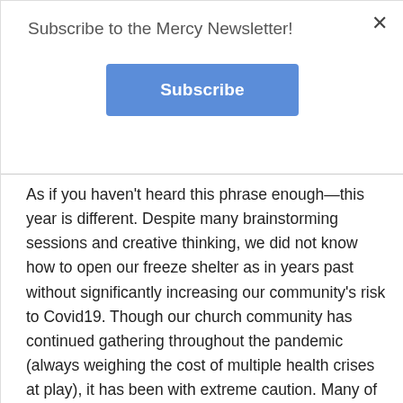Subscribe to the Mercy Newsletter!
Subscribe
As if you haven't heard this phrase enough—this year is different. Despite many brainstorming sessions and creative thinking, we did not know how to open our freeze shelter as in years past without significantly increasing our community's risk to Covid19. Though our church community has continued gathering throughout the pandemic (always weighing the cost of multiple health crises at play), it has been with extreme caution. Many of our community members are elderly, others have health conditions that make them particularly vulnerable—and we have already lost someone to the virus. As a church community we are committed to protecting and caring for one another as best as we are able, we know